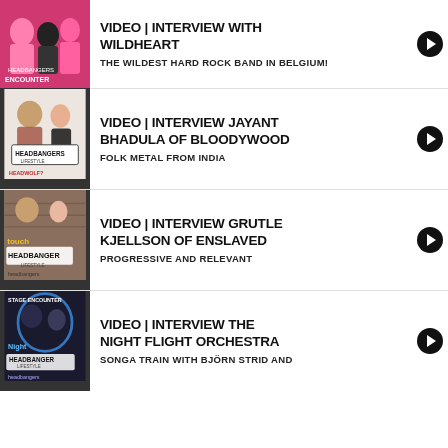VIDEO | INTERVIEW WITH WILDHEART — THE WILDEST HARD ROCK BAND IN BELGIUM!
VIDEO | INTERVIEW JAYANT BHADULA OF BLOODYWOOD — FOLK METAL FROM INDIA
VIDEO | INTERVIEW GRUTLE KJELLSON OF ENSLAVED — PROGRESSIVE AND RELEVANT
VIDEO | INTERVIEW THE NIGHT FLIGHT ORCHESTRA — SONGA TRAIN WITH BJÖRN STRID AND